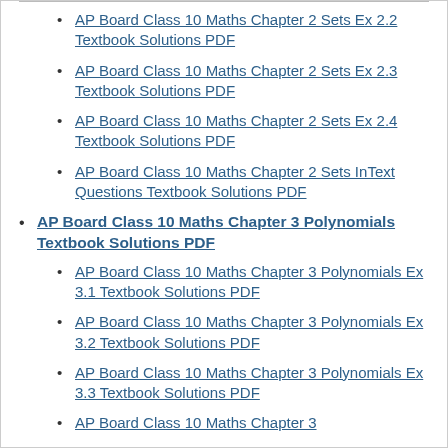AP Board Class 10 Maths Chapter 2 Sets Ex 2.2 Textbook Solutions PDF
AP Board Class 10 Maths Chapter 2 Sets Ex 2.3 Textbook Solutions PDF
AP Board Class 10 Maths Chapter 2 Sets Ex 2.4 Textbook Solutions PDF
AP Board Class 10 Maths Chapter 2 Sets InText Questions Textbook Solutions PDF
AP Board Class 10 Maths Chapter 3 Polynomials Textbook Solutions PDF
AP Board Class 10 Maths Chapter 3 Polynomials Ex 3.1 Textbook Solutions PDF
AP Board Class 10 Maths Chapter 3 Polynomials Ex 3.2 Textbook Solutions PDF
AP Board Class 10 Maths Chapter 3 Polynomials Ex 3.3 Textbook Solutions PDF
AP Board Class 10 Maths Chapter 3